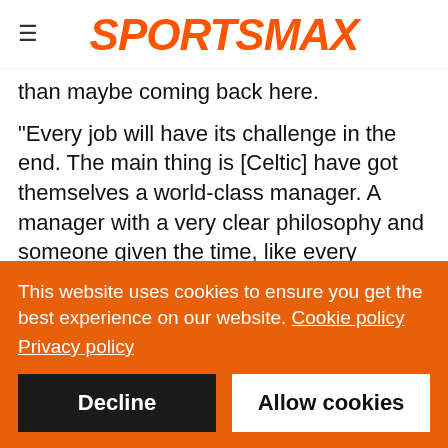SPORTSMAX
than maybe coming back here.
"Every job will have its challenge in the end. The main thing is [Celtic] have got themselves a world-class manager. A manager with a very clear philosophy and someone given the time, like every manager needs. Some use that time extremely well and you see progression, and others unfortunately – because the path isn't so clear, doesn't go that way. But given the time, he will be successful there for sure. He will be successful in his own
This website uses cookies to ensure you get the best experience on our website. Cookie policy Privacy policy
Decline
Allow cookies